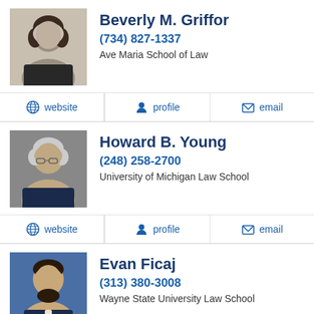Beverly M. Griffor
(734) 827-1337
Ave Maria School of Law
website  profile  email
Howard B. Young
(248) 258-2700
University of Michigan Law School
website  profile  email
Evan Ficaj
(313) 380-3008
Wayne State University Law School